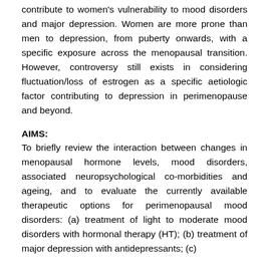contribute to women's vulnerability to mood disorders and major depression. Women are more prone than men to depression, from puberty onwards, with a specific exposure across the menopausal transition. However, controversy still exists in considering fluctuation/loss of estrogen as a specific aetiologic factor contributing to depression in perimenopause and beyond.
AIMS:
To briefly review the interaction between changes in menopausal hormone levels, mood disorders, associated neuropsychological co-morbidities and ageing, and to evaluate the currently available therapeutic options for perimenopausal mood disorders: (a) treatment of light to moderate mood disorders with hormonal therapy (HT); (b) treatment of major depression with antidepressants; (c)